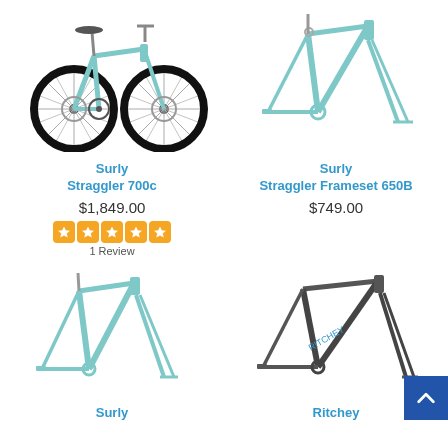[Figure (photo): Surly Straggler 700c complete bicycle in teal/mint color, side view showing full bike with wheels]
Surly
Straggler 700c
$1,849.00
[Figure (other): 5-star rating displayed as orange star icons]
1 Review
[Figure (photo): Surly Straggler Frameset 650B in teal/mint color, frame and fork only]
Surly
Straggler Frameset 650B
$749.00
[Figure (photo): Surly frameset in teal/mint color, frame and fork only, lower portion of page]
Surly
[Figure (photo): Ritchey frameset in dark gray/charcoal color, frame and fork only]
Ritchey